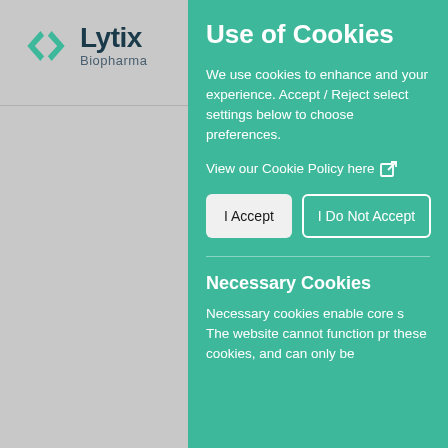[Figure (logo): Lytix Biopharma logo with teal X symbol and dark text]
Use of Cookies
We use cookies to enhance and your experience. Accept / Reject select settings below to choose preferences.
View our Cookie Policy here ⧉
I Accept
I Do Not Accept
Necessary Cookies
Necessary cookies enable core s The website cannot function pr these cookies, and can only be